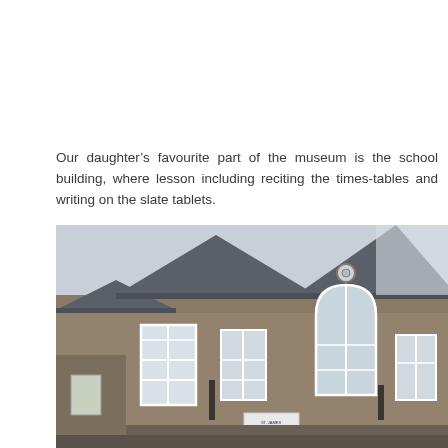Our daughter's favourite part of the museum is the school building, where lesson including reciting the times-tables and writing on the slate tablets.
[Figure (photo): Exterior photograph of a Victorian-era stone school building (St. James C.E. Infants School) with gothic-arched windows, large white-framed multi-pane windows, and a steep slate roof. A small sign reading 'St James C.E. Infants School' is visible near the entrance.]